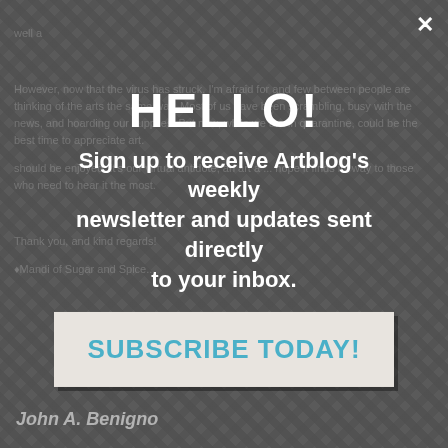HELLO!
Sign up to receive Artblog's weekly newsletter and updates sent directly to your inbox.
SUBSCRIBE TODAY!
John A. Benigno